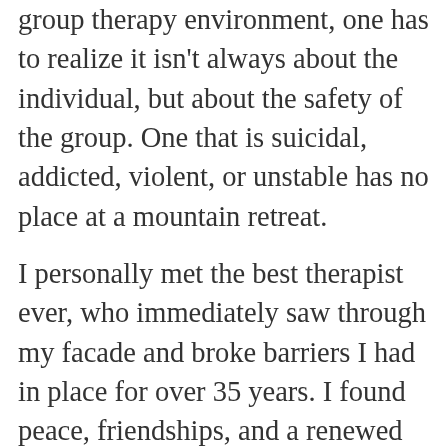group therapy environment, one has to realize it isn't always about the individual, but about the safety of the group. One that is suicidal, addicted, violent, or unstable has no place at a mountain retreat.

I personally met the best therapist ever, who immediately saw through my facade and broke barriers I had in place for over 35 years. I found peace, friendships, and a renewed sense of hope that years of therapy had not provided me previously. The intense inpatient setting, away from modern distractions, in a beautiful